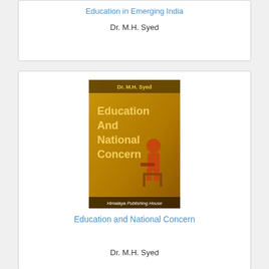Education in Emerging India
Dr. M.H. Syed
[Figure (photo): Book cover of 'Education And National Concern' by Dr. M.H. Syed, published by Himalaya Publishing House. Yellow/orange background with bold golden text and an illustration of a seated figure.]
Education and National Concern
Dr. M.H. Syed